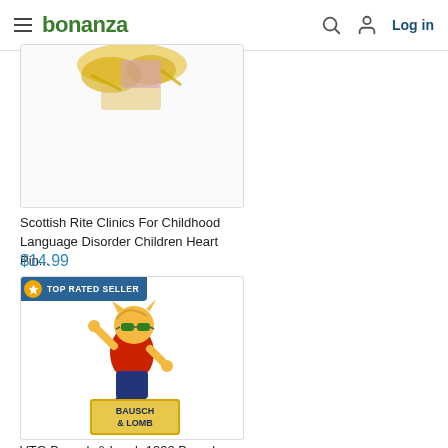bonanza — Log in
[Figure (photo): Partial view of a pin/brooch showing gold metallic elements on white background (cropped at top)]
Scottish Rite Clinics For Childhood Language Disorder Children Heart Pin...
$14.99
[Figure (photo): VTG Bausch & Lomb 1992 Barcelona pin featuring a cartoon character wearing sunglasses, red shirt, blue pants, running pose, mounted on a gold rectangular base labeled BAUSCH & LOMB. TOP RATED SELLER badge visible.]
VTG Bausch & Lomb 1992 Barcelona